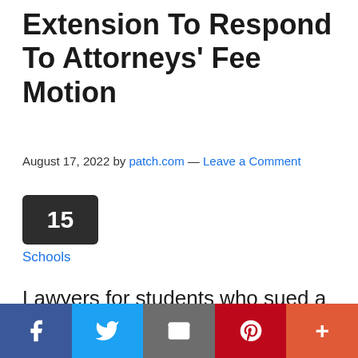Extension To Respond To Attorneys' Fee Motion
August 17, 2022 by patch.com — Leave a Comment
[Figure (other): Dark badge/box with number 15]
Schools
Lawyers for students who sued a Montco district over facemasks are seeking attorneys' fees in the litigation. The suit was recently tossed
Social sharing bar: Facebook, Twitter, Email, Pinterest, More